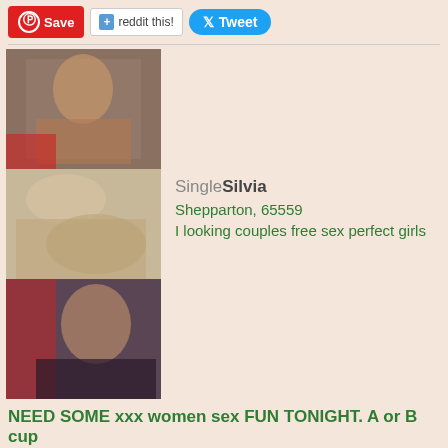[Figure (other): Social share buttons: Pinterest Save, reddit this!, Tweet]
[Figure (photo): Three stacked photos of a person]
SingleSilvia
Shepparton, 65559
I looking couples free sex perfect girls
NEED SOME xxx women sex FUN TONIGHT. A or B cup
Are you fairly small breasted, seeking married womans